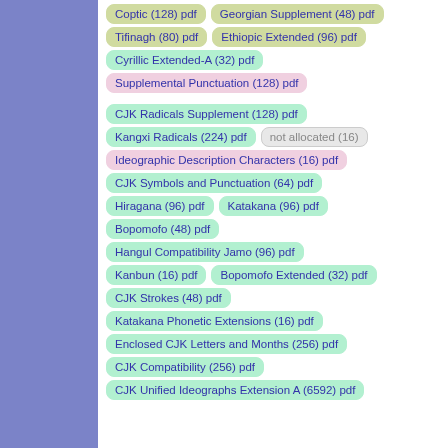Coptic (128) pdf
Georgian Supplement (48) pdf
Tifinagh (80) pdf
Ethiopic Extended (96) pdf
Cyrillic Extended-A (32) pdf
Supplemental Punctuation (128) pdf
CJK Radicals Supplement (128) pdf
Kangxi Radicals (224) pdf
not allocated (16)
Ideographic Description Characters (16) pdf
CJK Symbols and Punctuation (64) pdf
Hiragana (96) pdf
Katakana (96) pdf
Bopomofo (48) pdf
Hangul Compatibility Jamo (96) pdf
Kanbun (16) pdf
Bopomofo Extended (32) pdf
CJK Strokes (48) pdf
Katakana Phonetic Extensions (16) pdf
Enclosed CJK Letters and Months (256) pdf
CJK Compatibility (256) pdf
CJK Unified Ideographs Extension A (6592) pdf